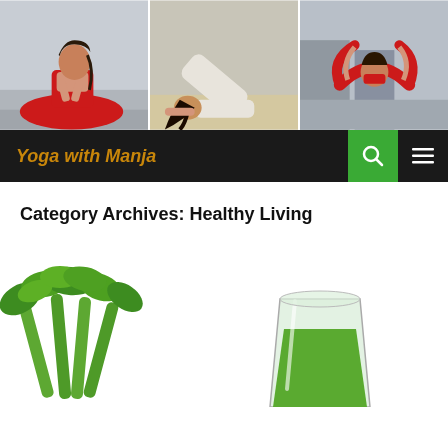[Figure (photo): Three yoga pose photos side by side: woman in red sitting cross-legged with prayer hands, person in white bowing forward on knees, woman in red bikini doing bow pose]
Yoga with Manja
Category Archives: Healthy Living
[Figure (photo): Fresh celery bunch and a glass of green juice on white background]